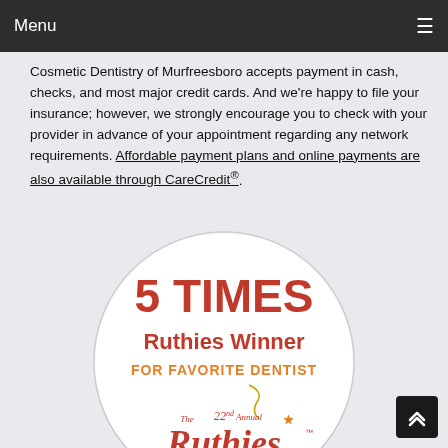Menu
Cosmetic Dentistry of Murfreesboro accepts payment in cash, checks, and most major credit cards. And we're happy to file your insurance; however, we strongly encourage you to check with your provider in advance of your appointment regarding any network requirements. Affordable payment plans and online payments are also available through CareCredit®.
[Figure (illustration): Circular badge reading '5 TIMES Ruthies Winner FOR FAVORITE DENTIST' with The 22nd Annual Ruthies Awards 2016 logo at the bottom]